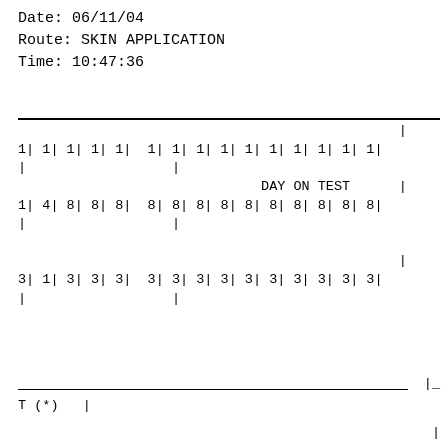Date: 06/11/04
Route: SKIN APPLICATION
Time: 10:47:36
|  | | |
| 1| 1| 1| 1| 1|  1| 1| 1| 1| 1| 1| 1| 1| 1| 1| |
| |                  | |
| DAY ON TEST  | |
| 1| 4| 8| 8| 8|  8| 8| 8| 8| 8| 8| 8| 8| 8| 8| |
| |                  | |
|  |
| | |
| 3| 1| 3| 3| 3|  3| 3| 3| 3| 3| 3| 3| 3| 3| 3| |
| |                  | |
T (*) |
|